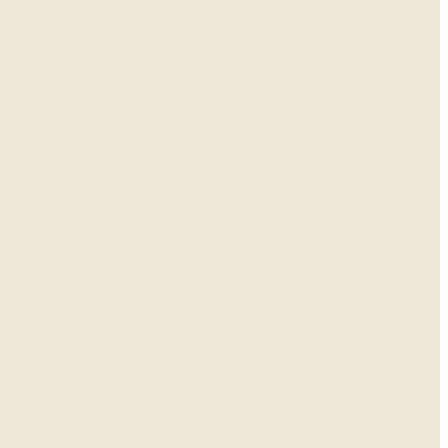Faridabad, December 28
The dream to turn ‘Surajkund Tradefest’ into a national-level trade fair seems to have failed to materialise. There is little indication that the tradefest, which was due to be held in the last week of December, will be organised at all now.
With little care diabetic foot ulcers can be controlled
New Delhi, December 28
The chilling winter brings an alarming session for those suffering from diabetes as the consequences of the fatal disease increases manifolds with the falling temperature.
Three J&K militants killed in encounter
New Delhi, December 28
Three Pakistan-trained Jaish-e-Mohammed terrorists have been killed in an encounter with Delhi Police sleuths in Jammu and Kashmir. The killed militants have been identified as Suhail (district commander Jaish-e-Mohammed), Daanish and Afaque.
Power theft detected in ‘posh’ colonies, residents warned
New Delhi, December 28
NDPL today announced that in the last two weeks, has unearthed close to 110 cases of physical tampering of meters in ‘posh’ localities like Shali...